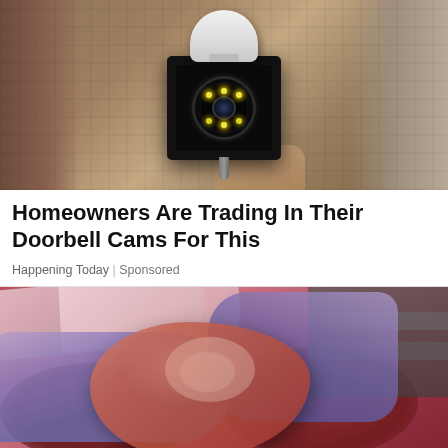[Figure (photo): Security camera with glowing LED ring lens mounted on an exterior wall bracket, with a textured stone/stucco wall background. A hand is partially visible at the bottom.]
Homeowners Are Trading In Their Doorbell Cams For This
Happening Today | Sponsored
[Figure (photo): A butcher or deli worker wearing purple latex gloves and a pink sleeve handling a large raw cut of red meat over a display case filled with more raw meat.]